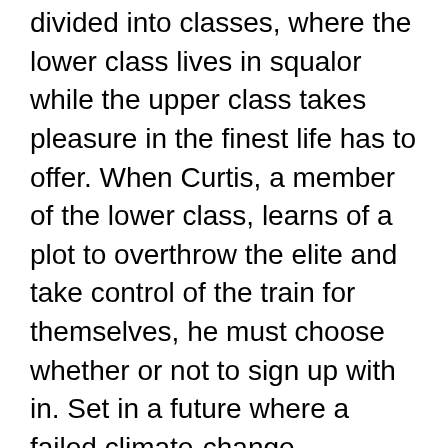divided into classes, where the lower class lives in squalor while the upper class takes pleasure in the finest life has to offer. When Curtis, a member of the lower class, learns of a plot to overthrow the elite and take control of the train for themselves, he must choose whether or not to sign up with in. Set in a future where a failed climate-change experiment has actually killed all life on the world other than for those aboard the Snowpiercer, a train that takes a trip around the world, the film follows its passengers as they combat for their survival.
The passengers of this train are divided into classes: the rich elites, who live in luxury on the upper levels; and the rest of the